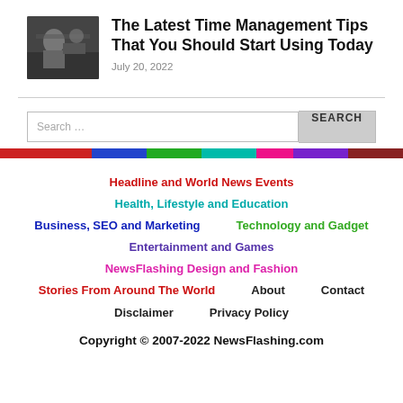[Figure (photo): Small thumbnail photo of a person working, used as article illustration]
The Latest Time Management Tips That You Should Start Using Today
July 20, 2022
[Figure (infographic): Colorful horizontal navigation bar with segments in red, blue, green, teal, pink, purple, dark red]
Headline and World News Events
Health, Lifestyle and Education
Business, SEO and Marketing
Technology and Gadget
Entertainment and Games
NewsFlashing Design and Fashion
Stories From Around The World
About
Contact
Disclaimer
Privacy Policy
Copyright © 2007-2022 NewsFlashing.com